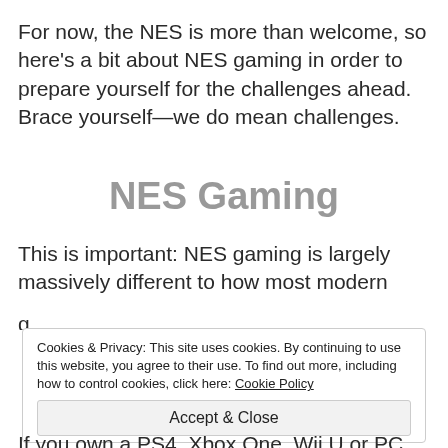For now, the NES is more than welcome, so here's a bit about NES gaming in order to prepare yourself for the challenges ahead. Brace yourself—we do mean challenges.
NES Gaming
This is important: NES gaming is largely massively different to how most modern
Cookies & Privacy: This site uses cookies. By continuing to use this website, you agree to their use. To find out more, including how to control cookies, click here: Cookie Policy
Accept & Close
If you own a PS4, Xbox One, Wii U or PC, you'll